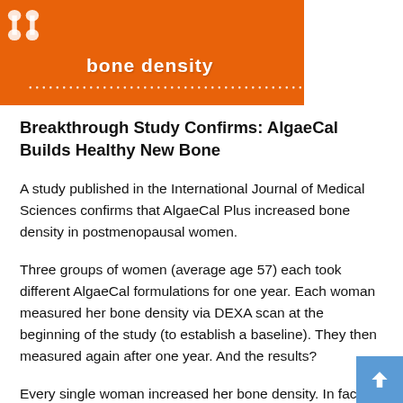[Figure (infographic): Orange banner with white bold text reading 'bone density' and a row of white dots below. A bone icon appears in the top left corner.]
Breakthrough Study Confirms: AlgaeCal Builds Healthy New Bone
A study published in the International Journal of Medical Sciences confirms that AlgaeCal Plus increased bone density in postmenopausal women.
Three groups of women (average age 57) each took different AlgaeCal formulations for one year. Each woman measured her bone density via DEXA scan at the beginning of the study (to establish a baseline). They then measured again after one year. And the results?
Every single woman increased her bone density. In fact, the